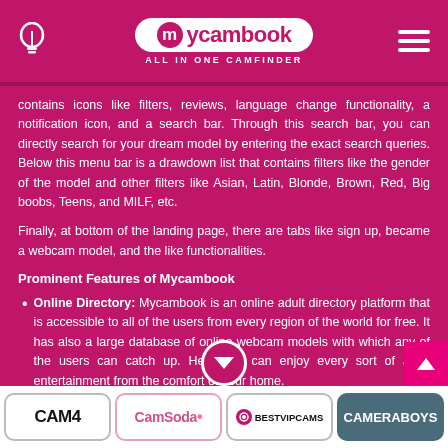[Figure (logo): Mycambook logo - All in one camfinder header]
contains icons like filters, reviews, language change functionality, a notification icon, and a search bar. Through this search bar, you can directly search for your dream model by entering the exact search queries. Below this menu bar is a drawdown list that contains filters like the gender of the model and other filters like Asian, Latin, Blonde, Brown, Red, Big boobs, Teens, and MILF, etc.
Finally, at bottom of the landing page, there are tabs like sign up, became a webcam model, and the like functionalities.
Prominent Features of Mycambook
Online Directory: Mycambook is an online adult directory platform that is accessible to all of the users from every region of the world for free. It has also a large database of online webcam models with which any of the users can catch up. Here you can enjoy every sort of adult entertainment from the comfort of your home.
[Figure (logo): Footer logos: CAM4, CamSoda, BestVipCams, CameraBoys]